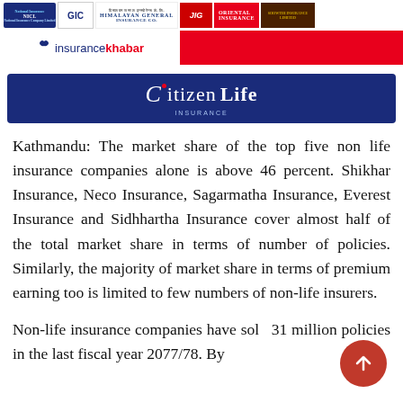[Figure (logo): Header banner with multiple insurance company logos: National Insurance Company Limited, GIC, Himalayan General Insurance Co., JIG, Oriental Insurance, and Soowthi Insurance Limited]
[Figure (logo): Red bar with insurancekhabar website logo]
[Figure (logo): Citizen Life Insurance banner in dark blue]
Kathmandu: The market share of the top five non life insurance companies alone is above 46 percent. Shikhar Insurance, Neco Insurance, Sagarmatha Insurance, Everest Insurance and Sidhhartha Insurance cover almost half of the total market share in terms of number of policies. Similarly, the majority of market share in terms of premium earning too is limited to few numbers of non-life insurers.
Non-life insurance companies have sold 31 million policies in the last fiscal year 2077/78. By